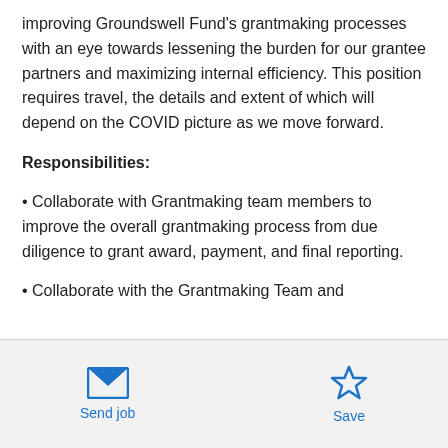improving Groundswell Fund's grantmaking processes with an eye towards lessening the burden for our grantee partners and maximizing internal efficiency. This position requires travel, the details and extent of which will depend on the COVID picture as we move forward.
Responsibilities:
• Collaborate with Grantmaking team members to improve the overall grantmaking process from due diligence to grant award, payment, and final reporting.
• Collaborate with the Grantmaking Team and
[Figure (other): Bottom navigation bar with Send job (envelope icon) and Save (star icon) buttons]